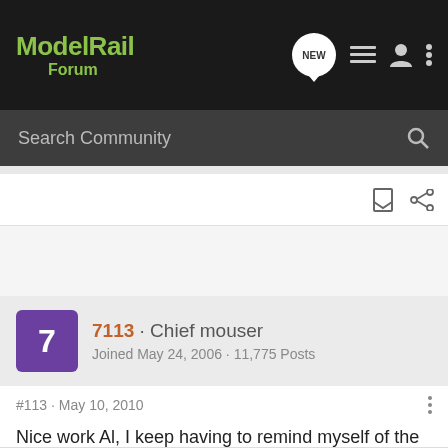ModelRail Forum
Search Community
7113 · Chief mouser
Joined May 24, 2006 · 11,775 Posts
#113 · May 10, 2010
Nice work Al, I keep having to remind myself of the scale....

Regards